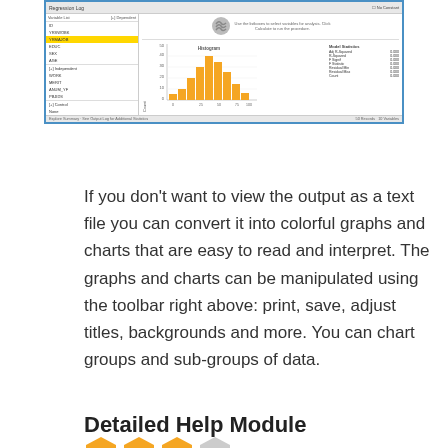[Figure (screenshot): A software interface showing a regression log window with variable list, histogram chart with orange bars, and model statistics panel. The histogram shows a bell-shaped distribution. Variables listed include ID, YRSWOBK, YRMAJOB, EDUC, SEX, AGE, WORK, MERIT, ANUM_YF, PBJIDS. Status bar shows 50 Records, 10 Variables.]
If you don't want to view the output as a text file you can convert it into colorful graphs and charts that are easy to read and interpret. The graphs and charts can be manipulated using the toolbar right above: print, save, adjust titles, backgrounds and more. You can chart groups and sub-groups of data.
Detailed Help Module